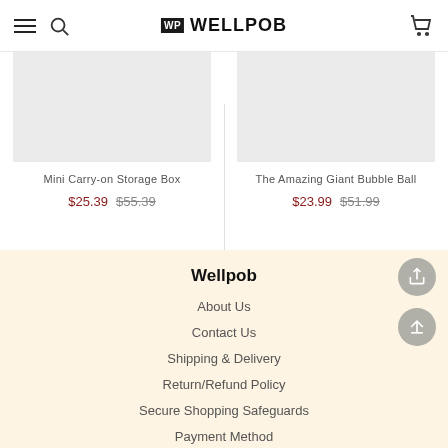WELLPOB
[Figure (photo): Product image placeholder for Mini Carry-on Storage Box]
Mini Carry-on Storage Box
$25.39  $55.39
[Figure (photo): Product image placeholder for The Amazing Giant Bubble Ball]
The Amazing Giant Bubble Ball
$23.99  $51.99
Wellpob
About Us
Contact Us
Shipping & Delivery
Return/Refund Policy
Secure Shopping Safeguards
Payment Method
Privacy Policy
Terms and Conditions